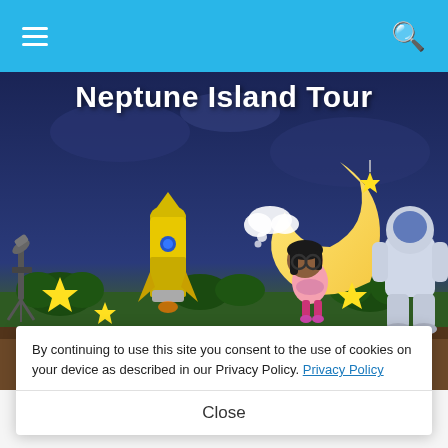Navigation bar with hamburger menu and search icon
[Figure (screenshot): Animal Crossing: New Horizons game screenshot showing a character sitting on a crescent moon at night, with a rocket, telescope, astronaut, stars, and cloud decorations. Title 'Neptune Island Tour' overlaid at the top.]
Neptune Island Tour
By continuing to use this site you consent to the use of cookies on your device as described in our Privacy Policy. Privacy Policy
Close
ANIMAL CROSSING
Animal Crossing: On Neptune — Video Tour